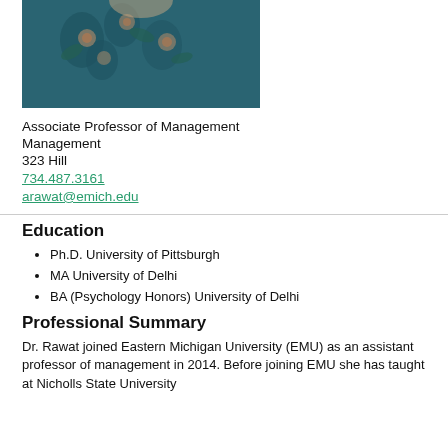[Figure (photo): Portrait photo of a person wearing a dark teal floral dress, cropped at approximately shoulder/chest level]
Associate Professor of Management
Management
323 Hill
734.487.3161
arawat@emich.edu
Education
Ph.D. University of Pittsburgh
MA University of Delhi
BA (Psychology Honors) University of Delhi
Professional Summary
Dr. Rawat joined Eastern Michigan University (EMU) as an assistant professor of management in 2014. Before joining EMU she has taught at Nicholls State University